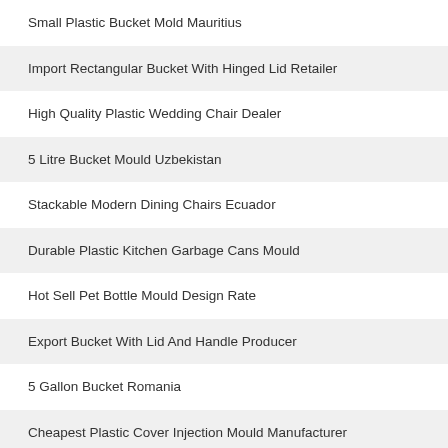Small Plastic Bucket Mold Mauritius
Import Rectangular Bucket With Hinged Lid Retailer
High Quality Plastic Wedding Chair Dealer
5 Litre Bucket Mould Uzbekistan
Stackable Modern Dining Chairs Ecuador
Durable Plastic Kitchen Garbage Cans Mould
Hot Sell Pet Bottle Mould Design Rate
Export Bucket With Lid And Handle Producer
5 Gallon Bucket Romania
Cheapest Plastic Cover Injection Mould Manufacturer